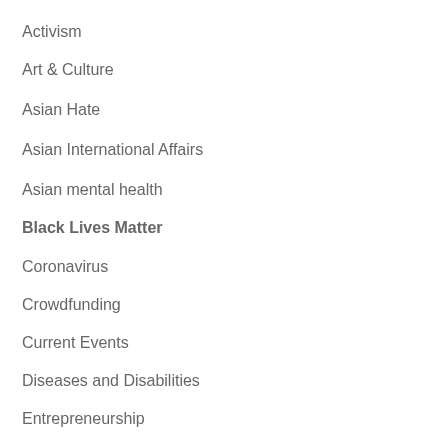Activism
Art & Culture
Asian Hate
Asian International Affairs
Asian mental health
Black Lives Matter
Coronavirus
Crowdfunding
Current Events
Diseases and Disabilities
Entrepreneurship
Homeschooling